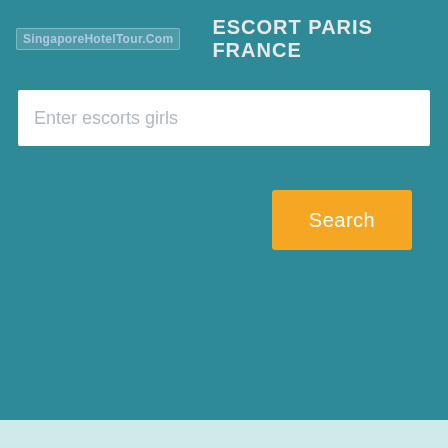SingaporeHotelTour.Com   ESCORT PARIS FRANCE
Enter escorts girls
Search